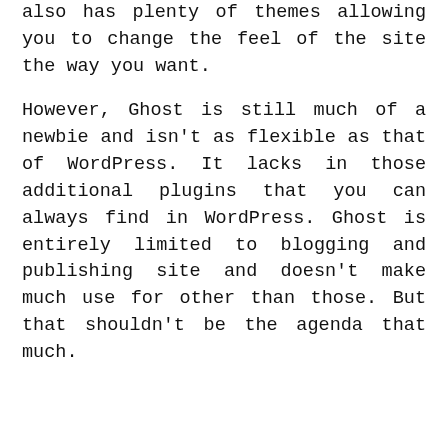also has plenty of themes allowing you to change the feel of the site the way you want.
However, Ghost is still much of a newbie and isn't as flexible as that of WordPress. It lacks in those additional plugins that you can always find in WordPress. Ghost is entirely limited to blogging and publishing site and doesn't make much use for other than those. But that shouldn't be the agenda that much.